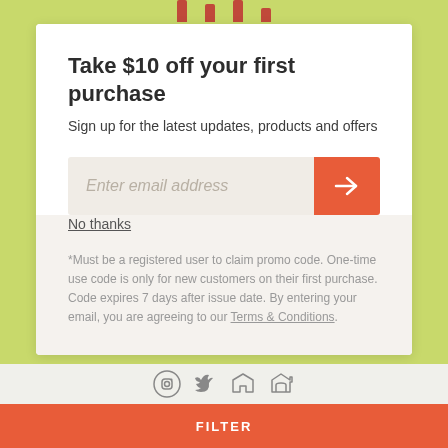Take $10 off your first purchase
Sign up for the latest updates, products and offers
Enter email address
No thanks
*Must be a registered user to claim promo code. One-time use code is only for new customers on their first purchase. Code expires 7 days after issue date. By entering your email, you are agreeing to our Terms & Conditions.
FILTER